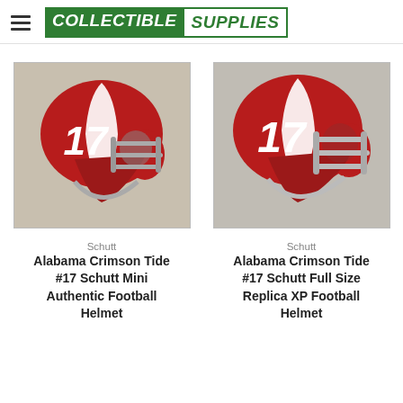COLLECTIBLE SUPPLIES
[Figure (photo): Alabama Crimson Tide #17 mini football helmet, red with white stripe and gray facemask, Schutt brand]
Schutt
Alabama Crimson Tide #17 Schutt Mini Authentic Football Helmet
[Figure (photo): Alabama Crimson Tide #17 full size football helmet, red with white stripe and gray facemask, Schutt brand]
Schutt
Alabama Crimson Tide #17 Schutt Full Size Replica XP Football Helmet